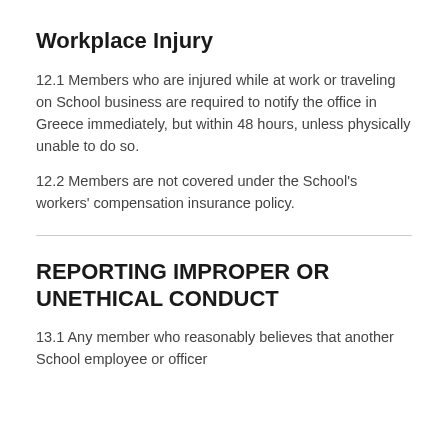Workplace Injury
12.1 Members who are injured while at work or traveling on School business are required to notify the office in Greece immediately, but within 48 hours, unless physically unable to do so.
12.2 Members are not covered under the School’s workers’ compensation insurance policy.
REPORTING IMPROPER OR UNETHICAL CONDUCT
13.1 Any member who reasonably believes that another School employee or officer...